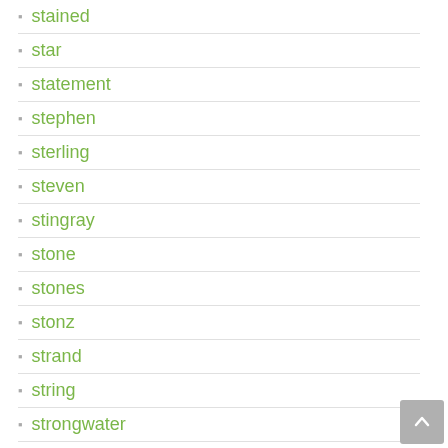stained
star
statement
stephen
sterling
steven
stingray
stone
stones
stonz
strand
string
strongwater
stunning
style